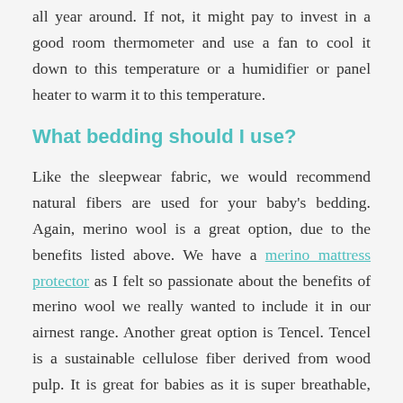all year around. If not, it might pay to invest in a good room thermometer and use a fan to cool it down to this temperature or a humidifier or panel heater to warm it to this temperature.
What bedding should I use?
Like the sleepwear fabric, we would recommend natural fibers are used for your baby's bedding. Again, merino wool is a great option, due to the benefits listed above. We have a merino mattress protector as I felt so passionate about the benefits of merino wool we really wanted to include it in our airnest range. Another great option is Tencel. Tencel is a sustainable cellulose fiber derived from wood pulp. It is great for babies as it is super breathable, letting air flow freely around your babies sleep environment. Our airnest sheets are made from Tencel, and include the protection from flow and the over do